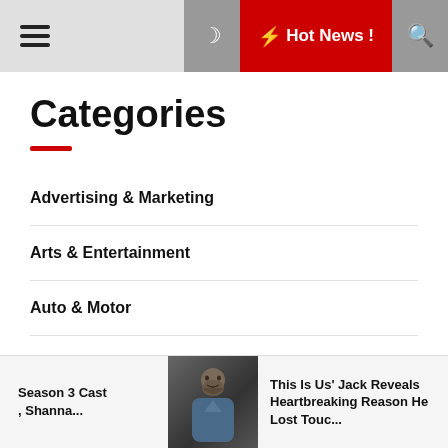☰  🌙  ⚡ Hot News !  🔍
Categories
Advertising & Marketing
Arts & Entertainment
Auto & Motor
Blog Article
Bollywood News
Business Products & Services
Season 3 Cast , Shanna...  |  [image]  |  This Is Us' Jack Reveals Heartbreaking Reason He Lost Touc...